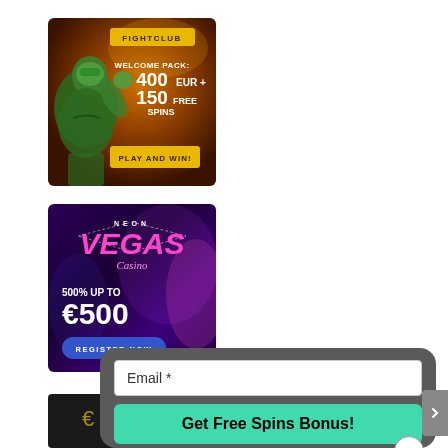[Figure (illustration): Fight Club casino banner: orange/dark background with wrestler character. Shows 'FIGHTCLUB' logo button, 'WELCOME PACK: 400 EUR + 150 FREE SPINS' text, and 'PLAY AND WIN!' button.]
[Figure (illustration): Neon Vegas Casino banner: purple/dark background with neon 'VEGAS Casino' logo. Shows '500% UP TO €500' offer and 'REGISTER NOW' button.]
[Figure (illustration): Third casino banner partially visible at bottom left, mostly cropped.]
[Figure (screenshot): Modal popup overlay with gray background, containing an Email * input field and a teal 'Get Free Spins Bonus!' button, with an X close button at bottom right.]